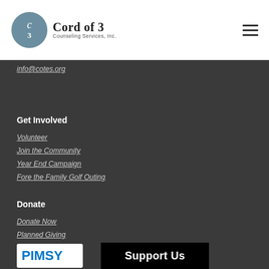[Figure (logo): Cord of 3 Counseling Services, Inc. logo — circular emblem on the left with text 'Cord of 3 Counseling Services, Inc.' on the right]
info@cotes.org
Get Involved
Volunteer
Join the Community
Year End Campaign
Fore the Family Golf Outing
Donate
Donate Now
Planned Giving
Current Needs
[Figure (logo): PIMSY logo in blue and white at bottom left]
Support Us